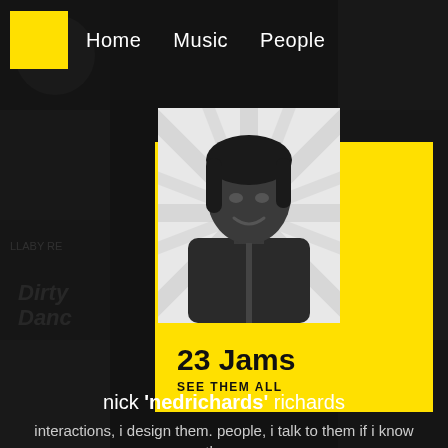[Figure (screenshot): Dark mosaic background of album artwork thumbnails, desaturated/darkened]
Home  Music  People
[Figure (photo): Black and white photo of a young man with medium-length hair, smiling slightly, on a starburst background]
23 Jams
SEE THEM ALL
nick 'nedrichards' richards
interactions, i design them. people, i talk to them if i know them.
[Figure (logo): Twitter bird icon]
[Figure (logo): Instagram camera icon]